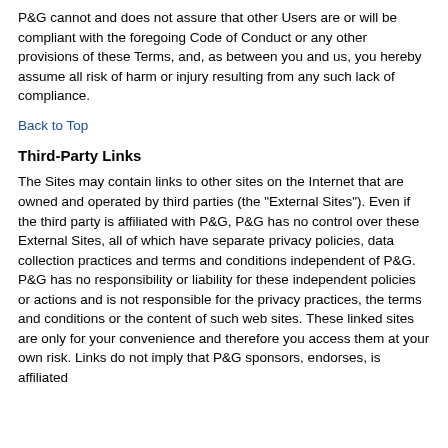P&G cannot and does not assure that other Users are or will be compliant with the foregoing Code of Conduct or any other provisions of these Terms, and, as between you and us, you hereby assume all risk of harm or injury resulting from any such lack of compliance.
Back to Top
Third-Party Links
The Sites may contain links to other sites on the Internet that are owned and operated by third parties (the "External Sites"). Even if the third party is affiliated with P&G, P&G has no control over these External Sites, all of which have separate privacy policies, data collection practices and terms and conditions independent of P&G. P&G has no responsibility or liability for these independent policies or actions and is not responsible for the privacy practices, the terms and conditions or the content of such web sites. These linked sites are only for your convenience and therefore you access them at your own risk. Links do not imply that P&G sponsors, endorses, is affiliated